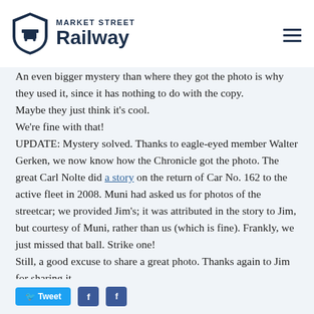MARKET STREET Railway
An even bigger mystery than where they got the photo is why they used it, since it has nothing to do with the copy.
Maybe they just think it's cool.
We're fine with that!
UPDATE: Mystery solved. Thanks to eagle-eyed member Walter Gerken, we now know how the Chronicle got the photo. The great Carl Nolte did a story on the return of Car No. 162 to the active fleet in 2008. Muni had asked us for photos of the streetcar; we provided Jim's; it was attributed in the story to Jim, but courtesy of Muni, rather than us (which is fine). Frankly, we just missed that ball. Strike one!
Still, a good excuse to share a great photo. Thanks again to Jim for sharing it.